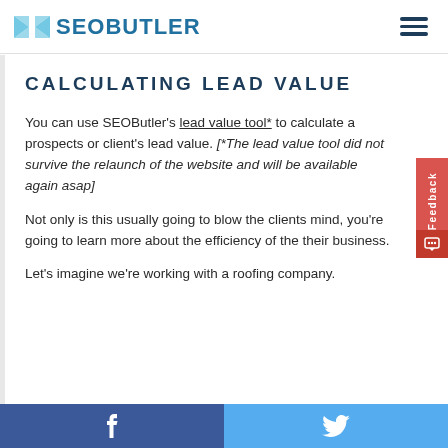SEO BUTLER
CALCULATING LEAD VALUE
You can use SEOButler's lead value tool* to calculate a prospects or client's lead value. [*The lead value tool did not survive the relaunch of the website and will be available again asap]
Not only is this usually going to blow the clients mind, you're going to learn more about the efficiency of the their business.
Let's imagine we're working with a roofing company.
f  [Twitter bird icon]